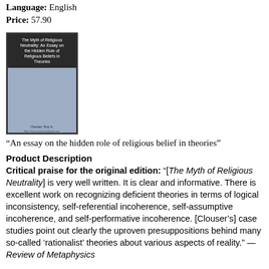Language: English
Price: 57.90
[Figure (photo): Book cover of 'The Myth of Religious Neutrality: An Essay on the Hidden Role of Religious Beliefs in Theories' by Clouser, Roy A.]
“An essay on the hidden role of religious belief in theories”
Product Description
Critical praise for the original edition: "[The Myth of Religious Neutrality] is very well written. It is clear and informative. There is excellent work on recognizing deficient theories in terms of logical inconsistency, self-referential incoherence, self-assumptive incoherence, and self-performative incoherence. [Clouser’s] case studies point out clearly the uproven presuppositions behind many so-called ‘rationalist’ theories about various aspects of reality." — Review of Metaphysics
"[S]ignificant and challenging. . . . Clouser’s book makes the case